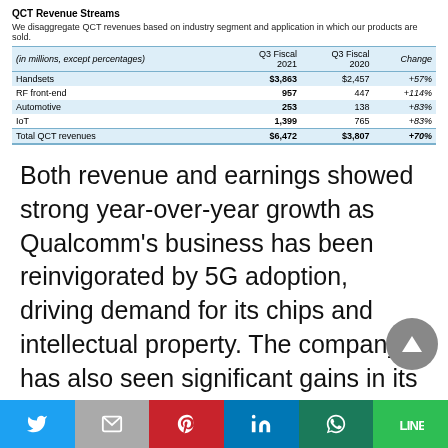QCT Revenue Streams
We disaggregate QCT revenues based on industry segment and application in which our products are sold.
| (in millions, except percentages) | Q3 Fiscal 2021 | Q3 Fiscal 2020 | Change |
| --- | --- | --- | --- |
| Handsets | $3,863 | $2,457 | +57% |
| RF front-end | 957 | 447 | +114% |
| Automotive | 253 | 138 | +83% |
| IoT | 1,399 | 765 | +83% |
| Total QCT revenues | $6,472 | $3,807 | +70% |
Both revenue and earnings showed strong year-over-year growth as Qualcomm's business has been reinvigorated by 5G adoption, driving demand for its chips and intellectual property. The company has also seen significant gains in its growing adjacencies, including IoT, Automotive, and RF Front End. Overall, sales were up 57% year-over-year while earnings grew a staggering 122%